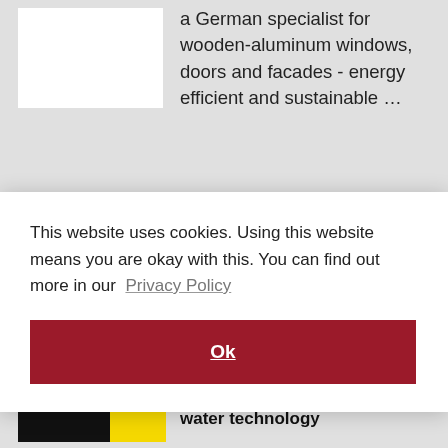a German specialist for wooden-aluminum windows, doors and facades - energy efficient and sustainable ...
[Figure (logo): VD Holz in Form logo: stylized V shape in black with red dot]
VD HOLZ IN FORM
wooden structures for furniture and interiors
This website uses cookies. Using this website means you are okay with this. You can find out more in our Privacy Policy
Ok
water technology